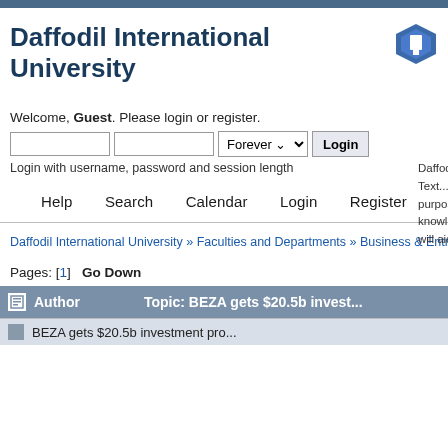Daffodil International University
Welcome, Guest. Please login or register.
Login with username, password and session length
Daffodil Intern... Text... purposes... knowledge... will aide in th...
Help   Search   Calendar   Login   Register
Daffodil International University » Faculties and Departments » Business & Entrepreneur...
Pages: [1]  Go Down
| Author | Topic: BEZA gets $20.5b invest... |
| --- | --- |
|  | BEZA gets $20.5b investment pro... |